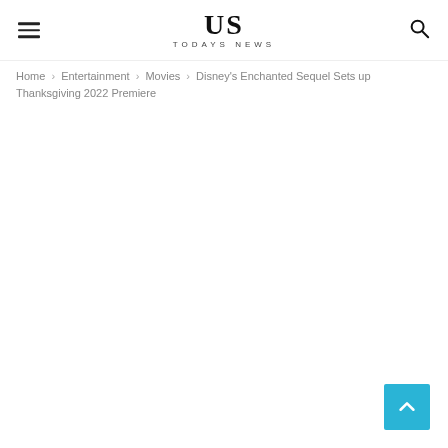US TODAYS NEWS
Home › Entertainment › Movies › Disney's Enchanted Sequel Sets up Thanksgiving 2022 Premiere